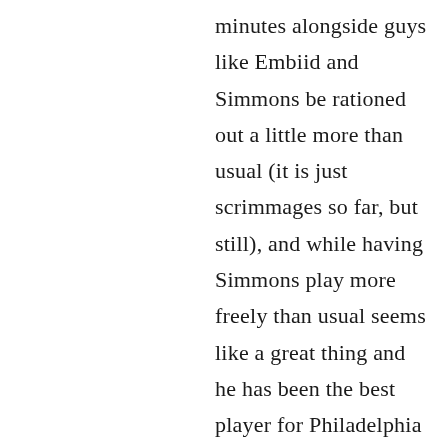minutes alongside guys like Embiid and Simmons be rationed out a little more than usual (it is just scrimmages so far, but still), and while having Simmons play more freely than usual seems like a great thing and he has been the best player for Philadelphia since the Orlando restart, he somehow is still managing to do the one thing that Brett Brown tried to fix, which was him taking the ball out of the hands of guys like Embiid. Against one of the league's deepest teams in Miami, a team